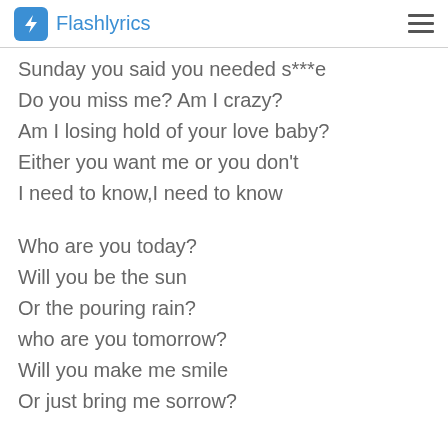Flashlyrics
Sunday you said you needed s***e
Do you miss me? Am I crazy?
Am I losing hold of your love baby?
Either you want me or you don't
I need to know,I need to know
Who are you today?
Will you be the sun
Or the pouring rain?
who are you tomorrow?
Will you make me smile
Or just bring me sorrow?